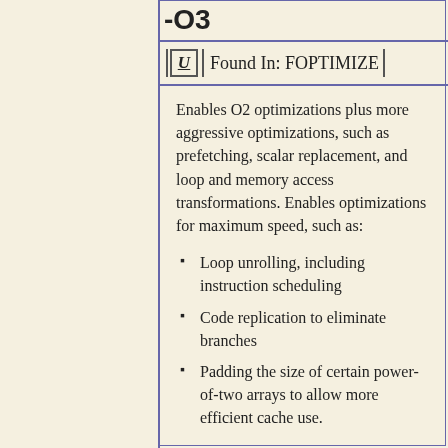-O3
Found In: FOPTIMIZE
Enables O2 optimizations plus more aggressive optimizations, such as prefetching, scalar replacement, and loop and memory access transformations. Enables optimizations for maximum speed, such as:
Loop unrolling, including instruction scheduling
Code replication to eliminate branches
Padding the size of certain power-of-two arrays to allow more efficient cache use.
On IA-32 and Intel EM64T processors, when O3 is used with options -ax or -x (Linux) or with options /Qax or /Qx (Windows), the compiler performs more